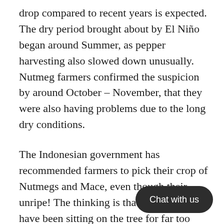drop compared to recent years is expected. The dry period brought about by El Niño began around Summer, as pepper harvesting also slowed down unusually. Nutmeg farmers confirmed the suspicion by around October – November, that they were also having problems due to the long dry conditions.
The Indonesian government has recommended farmers to pick their crop of Nutmegs and Mace, even though their unripe! The thinking is that these fruit have been sitting on the tree for far too long already, if they aren't picked, they will drain the tree of too much energy, caus